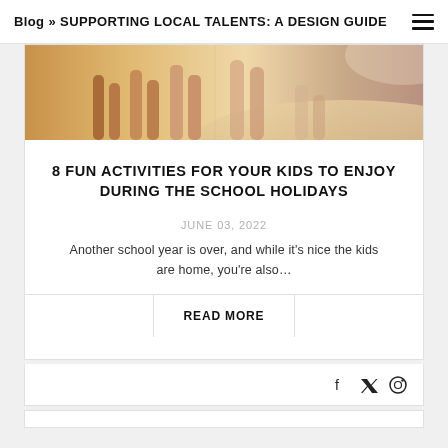Blog » SUPPORTING LOCAL TALENTS: A DESIGN GUIDE
[Figure (photo): Beach scene showing people's legs and feet near the shoreline with warm golden sunlight]
8 FUN ACTIVITIES FOR YOUR KIDS TO ENJOY DURING THE SCHOOL HOLIDAYS
JUNE 03, 2022
Another school year is over, and while it's nice the kids are home, you're also...
READ MORE
f  ⱳ  ℗